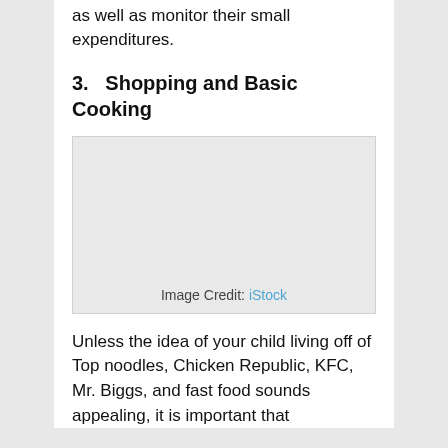as well as monitor their small expenditures.
3.   Shopping and Basic Cooking
[Figure (photo): Placeholder image with light gray background and image credit 'iStock']
Image Credit: iStock
Unless the idea of your child living off of Top noodles, Chicken Republic, KFC, Mr. Biggs, and fast food sounds appealing, it is important that